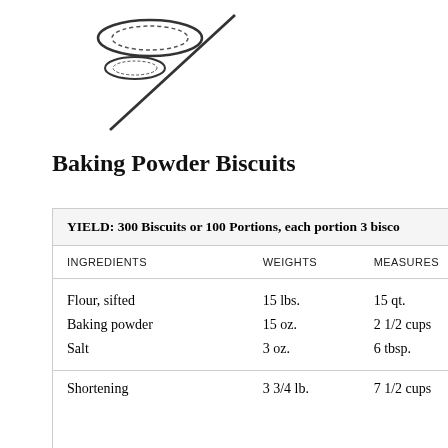[Figure (illustration): Hand-drawn illustration of biscuits and a rolling pin or baking tool, partially cropped at top of page]
Baking Powder Biscuits
| INGREDIENTS | WEIGHTS | MEASURES |
| --- | --- | --- |
| Flour, sifted | 15 lbs. | 15 qt. |
| Baking powder | 15 oz. | 2 1/2 cups |
| Salt | 3 oz. | 6 tbsp. |
| Shortening | 3 3/4 lb. | 7 1/2 cups |
| Milk |  | 5 or 6 qt. |